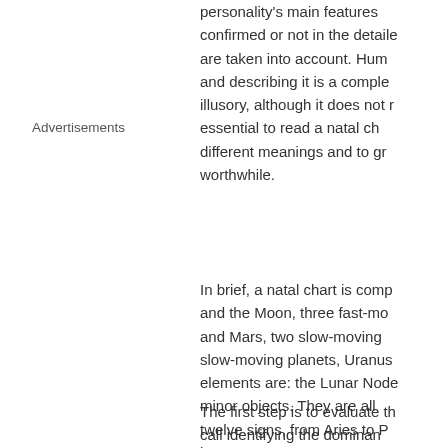personality's main features confirmed or not in the detailed analysis are taken into account. Human beings and describing it is a complex and illusory, although it does not mean it is essential to read a natal chart with different meanings and to grasp what is worthwhile.
Advertisements
In brief, a natal chart is composed of the Sun and the Moon, three fast-moving planets, and Mars, two slow-moving planets, two slow-moving planets, Uranus elements are: the Lunar Node minor objects. They are all placed in twelve signs, from Aries to houses.
The first step is to evaluate the call identifying the dominant depend on the astrologer...